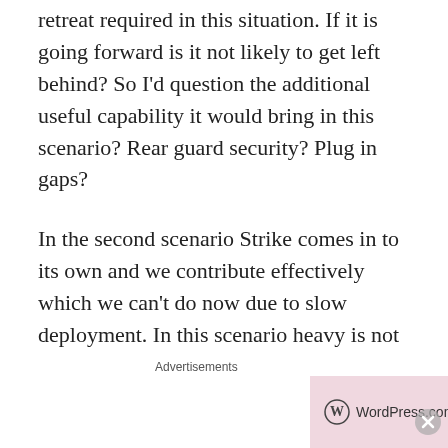retreat required in this situation. If it is going forward is it not likely to get left behind? So I'd question the additional useful capability it would bring in this scenario? Rear guard security? Plug in gaps?
In the second scenario Strike comes in to its own and we contribute effectively which we can't do now due to slow deployment. In this scenario heavy is not of any use unless it escalates in to scenario 1.
Regarding the commitment of a heavy brigade
[Figure (other): WordPress.com advertisement banner with logo and 'Start Today' button on pink background, with 'Advertisements' label above and close (X) button.]